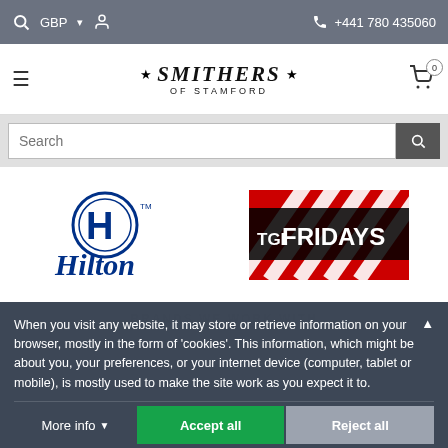GBP  +441 780 435060
[Figure (logo): Smithers of Stamford logo with stars]
[Figure (screenshot): Search bar with text input and search button]
[Figure (logo): Hilton hotel logo - blue circular icon with Hilton text]
[Figure (logo): TGI Fridays logo - red and white diagonal stripes with TGI FRIDAYS text]
BRANDS WE WORK WITH
When you visit any website, it may store or retrieve information on your browser, mostly in the form of 'cookies'. This information, which might be about you, your preferences, or your internet device (computer, tablet or mobile), is mostly used to make the site work as you expect it to.
[Figure (logo): Netflix logo partially visible at the bottom]